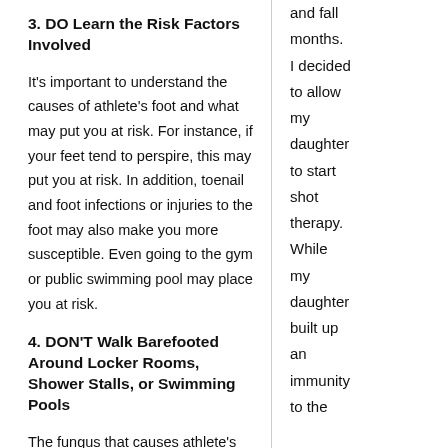3. DO Learn the Risk Factors Involved
It's important to understand the causes of athlete's foot and what may put you at risk. For instance, if your feet tend to perspire, this may put you at risk. In addition, toenail and foot infections or injuries to the foot may also make you more susceptible. Even going to the gym or public swimming pool may place you at risk.
4. DON'T Walk Barefooted Around Locker Rooms, Shower Stalls, or Swimming Pools
The fungus that causes athlete's foot
and fall months. I decided to allow my daughter to start shot therapy. While my daughter built up an immunity to the